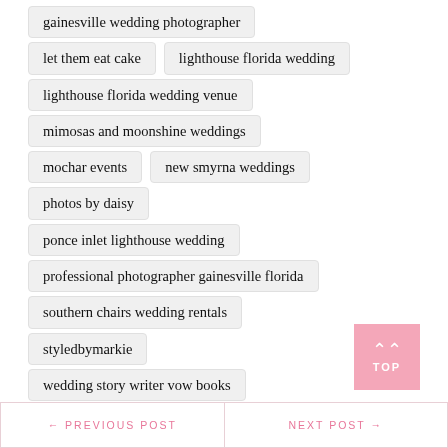gainesville wedding photographer
let them eat cake
lighthouse florida wedding
lighthouse florida wedding venue
mimosas and moonshine weddings
mochar events
new smyrna weddings
photos by daisy
ponce inlet lighthouse wedding
professional photographer gainesville florida
southern chairs wedding rentals
styledbymarkie
wedding story writer vow books
TOP
← PREVIOUS POST
NEXT POST →